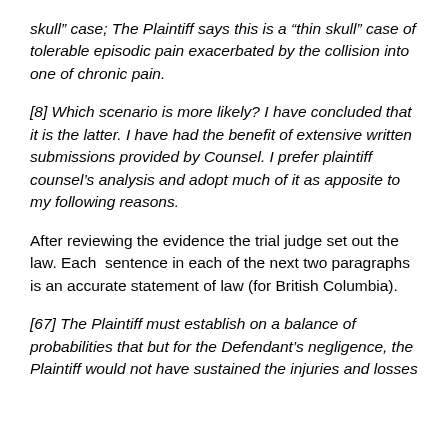skull” case; The Plaintiff says this is a “thin skull” case of tolerable episodic pain exacerbated by the collision into one of chronic pain.
[8] Which scenario is more likely? I have concluded that it is the latter. I have had the benefit of extensive written submissions provided by Counsel. I prefer plaintiff counsel’s analysis and adopt much of it as apposite to my following reasons.
After reviewing the evidence the trial judge set out the law. Each sentence in each of the next two paragraphs is an accurate statement of law (for British Columbia).
[67] The Plaintiff must establish on a balance of probabilities that but for the Defendant’s negligence, the Plaintiff would not have sustained the injuries and losses